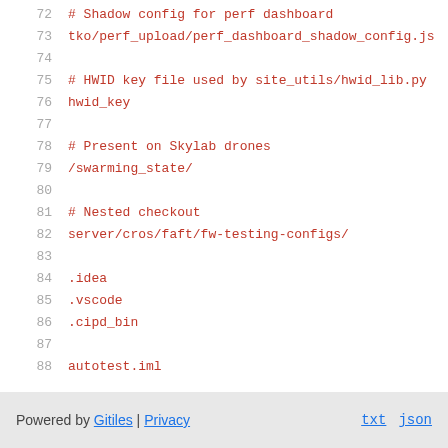72  # Shadow config for perf dashboard
73  tko/perf_upload/perf_dashboard_shadow_config.js
74
75  # HWID key file used by site_utils/hwid_lib.py
76  hwid_key
77
78  # Present on Skylab drones
79  /swarming_state/
80
81  # Nested checkout
82  server/cros/faft/fw-testing-configs/
83
84  .idea
85  .vscode
86  .cipd_bin
87
88  autotest.iml
Powered by Gitiles | Privacy    txt  json